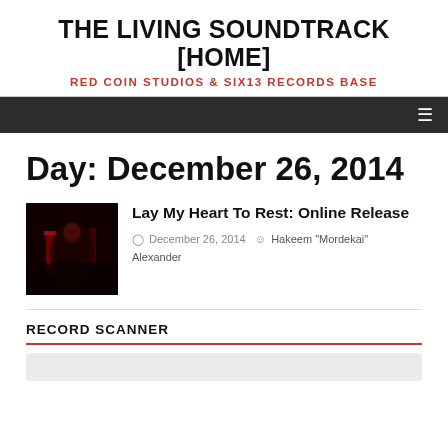THE LIVING SOUNDTRACK [HOME]
RED COIN STUDIOS & SIX13 RECORDS BASE
Day: December 26, 2014
[Figure (photo): Dark red-lit photo of a performer on stage]
Lay My Heart To Rest: Online Release
December 26, 2014  Hakeem "Mordekai" Alexander
RECORD SCANNER